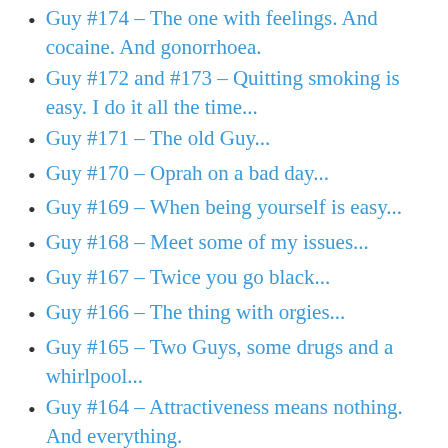Guy #174 – The one with feelings. And cocaine. And gonorrhoea.
Guy #172 and #173 – Quitting smoking is easy. I do it all the time...
Guy #171 – The old Guy...
Guy #170 – Oprah on a bad day...
Guy #169 – When being yourself is easy...
Guy #168 – Meet some of my issues...
Guy #167 – Twice you go black...
Guy #166 – The thing with orgies...
Guy #165 – Two Guys, some drugs and a whirlpool...
Guy #164 – Attractiveness means nothing. And everything.
Guy #163 – Being a dominant kiss-ass...
Guy #162 – The perfect relationship for